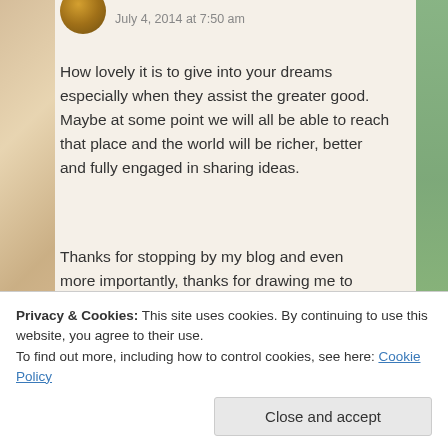July 4, 2014 at 7:50 am
How lovely it is to give into your dreams especially when they assist the greater good. Maybe at some point we will all be able to reach that place and the world will be richer, better and fully engaged in sharing ideas.
Thanks for stopping by my blog and even more importantly, thanks for drawing me to yours! 🙂
Reply
Privacy & Cookies: This site uses cookies. By continuing to use this website, you agree to their use.
To find out more, including how to control cookies, see here: Cookie Policy
Close and accept